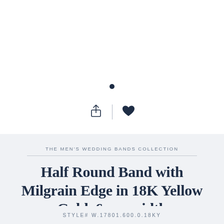[Figure (illustration): A small filled dark navy circle dot used as a decorative or carousel indicator element]
[Figure (illustration): Share icon (box with upward arrow) and a filled heart icon separated by a vertical divider line, both in dark navy color]
THE MEN'S WEDDING BANDS COLLECTION
Half Round Band with Milgrain Edge in 18K Yellow Gold, 6mm width
STYLE# W.17801.600.0.18KY